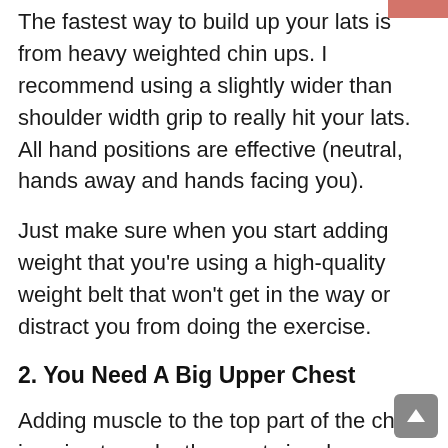The fastest way to build up your lats is from heavy weighted chin ups. I recommend using a slightly wider than shoulder width grip to really hit your lats. All hand positions are effective (neutral, hands away and hands facing you).
Just make sure when you start adding weight that you're using a high-quality weight belt that won't get in the way or distract you from doing the exercise.
2. You Need A Big Upper Chest
Adding muscle to the top part of the chest is going to make the most visual difference. A big upper chest creates a masculine and dominant look.